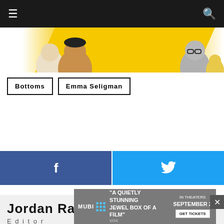≡  🔍
[Figure (illustration): Colorful banner with illustrated characters on white/yellow background]
Bottoms
Emma Seligman
[Figure (infographic): Facebook share button (dark blue with f icon) and Twitter share button (light blue with bird icon)]
Jordan Raup
Editor
Jordan Raup is the founder and editor-in-chief of The Film Stage
[Figure (other): Advertisement overlay: MUBI film ad - 'A QUIETLY STUNNING JEWEL BOX OF A FILM' - VOX - IN THEATERS SEPTEMBER 2 - GET TICKETS]